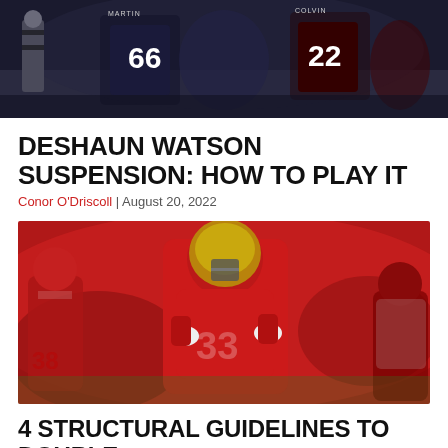[Figure (photo): Football game action photo with players wearing jerseys #66 (Martin) and #22 (Colvin)]
DESHAUN WATSON SUSPENSION: HOW TO PLAY IT
Conor O'Driscoll | August 20, 2022
[Figure (photo): San Francisco 49ers player #33 in red uniform running with football]
4 STRUCTURAL GUIDELINES TO DOUBLE